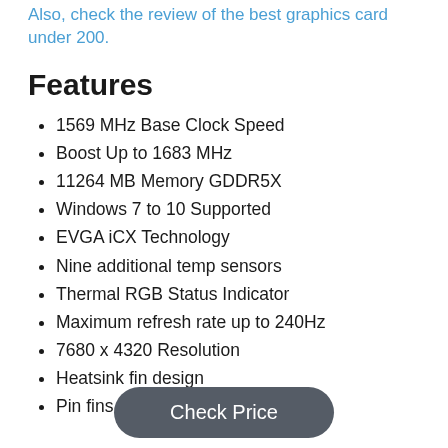Also, check the review of the best graphics card under 200.
Features
1569 MHz Base Clock Speed
Boost Up to 1683 MHz
11264 MB Memory GDDR5X
Windows 7 to 10 Supported
EVGA iCX Technology
Nine additional temp sensors
Thermal RGB Status Indicator
Maximum refresh rate up to 240Hz
7680 x 4320 Resolution
Heatsink fin design
Pin fins for optimized airflow
Check Price